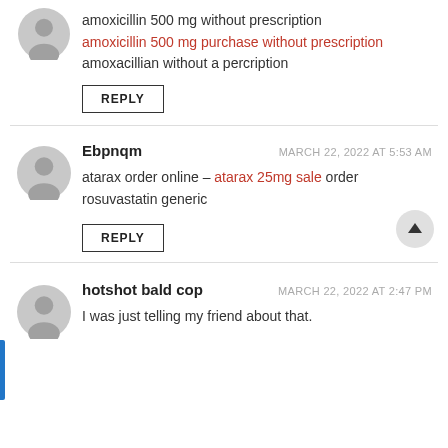amoxicillin 500 mg without prescription
amoxicillin 500 mg purchase without prescription
amoxacillian without a percription
REPLY
Ebpnqm — MARCH 22, 2022 AT 5:53 AM
atarax order online – atarax 25mg sale order rosuvastatin generic
REPLY
hotshot bald cop — MARCH 22, 2022 AT 2:47 PM
I was just telling my friend about that.